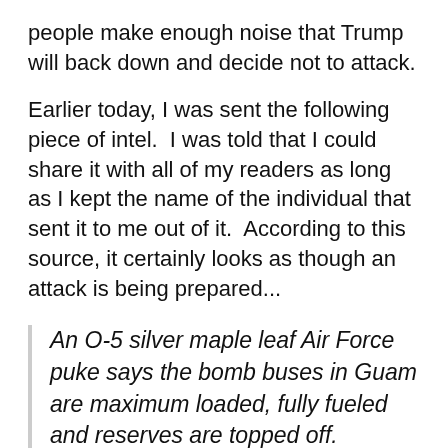people make enough noise that Trump will back down and decide not to attack.
Earlier today, I was sent the following piece of intel.  I was told that I could share it with all of my readers as long as I kept the name of the individual that sent it to me out of it.  According to this source, it certainly looks as though an attack is being prepared...
An O-5 silver maple leaf Air Force puke says the bomb buses in Guam are maximum loaded, fully fueled and reserves are topped off.  Reserves are only topped off just before the buses go airborne.